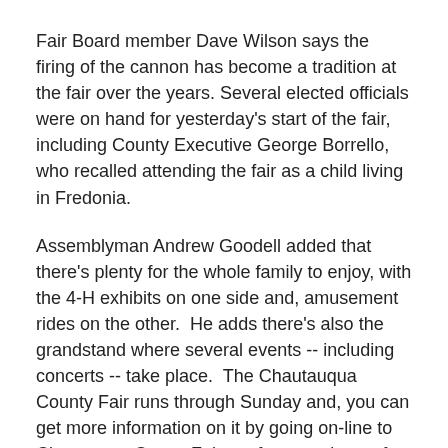Fair Board member Dave Wilson says the firing of the cannon has become a tradition at the fair over the years. Several elected officials were on hand for yesterday's start of the fair, including County Executive George Borrello, who recalled attending the fair as a child living in Fredonia.
Assemblyman Andrew Goodell added that there's plenty for the whole family to enjoy, with the 4-H exhibits on one side and, amusement rides on the other.  He adds there's also the grandstand where several events -- including concerts -- take place.  The Chautauqua County Fair runs through Sunday and, you can get more information on it by going on-line to ChautauquaCountyFair.org for a rundown of the fair's events.
Governor Andrew Cuomo has written to federal